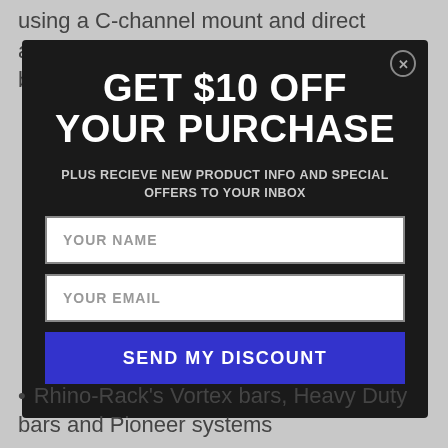using a C-channel mount and direct attachment to most popular bull bar brands. The bracket
[Figure (screenshot): Modal popup dialog on dark background with title 'GET $10 OFF YOUR PURCHASE', subtitle 'PLUS RECIEVE NEW PRODUCT INFO AND SPECIAL OFFERS TO YOUR INBOX', two input fields labeled 'YOUR NAME' and 'YOUR EMAIL', and a blue button labeled 'SEND MY DISCOUNT'. A close button (x) is in the top right corner.]
Rhino-Rack's Vortex bars, Heavy Duty bars and Pioneer systems